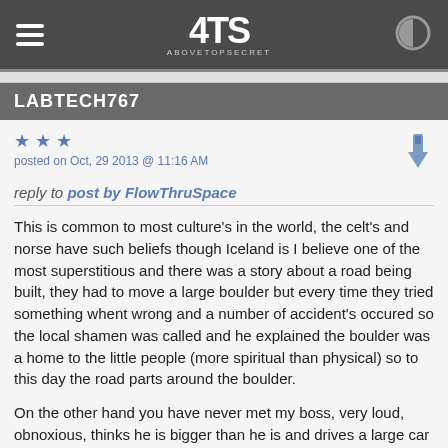ATS AboveTopSecret
LABTECH767
posted on Oct, 29 2013 @ 11:16 AM
reply to post by FlowThruSpace
This is common to most culture's in the world, the celt's and norse have such beliefs though Iceland is I believe one of the most superstitious and there was a story about a road being built, they had to move a large boulder but every time they tried something whent wrong and a number of accident's occured so the local shamen was called and he explained the boulder was a home to the little people (more spiritual than physical) so to this day the road parts around the boulder.

On the other hand you have never met my boss, very loud, obnoxious, thinks he is bigger than he is and drives a large car as well as putting other people down to boost his diminutive ego.